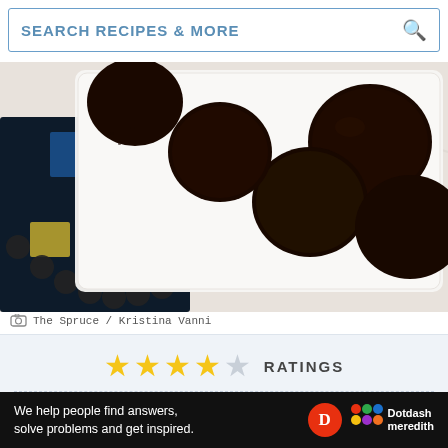SEARCH RECIPES & MORE
[Figure (photo): Dark chocolate cookies on a white decorative tray placed on a black, blue, and yellow patterned napkin, on a white marble surface]
The Spruce / Kristina Vanni
[Figure (infographic): 4 out of 5 star rating with label RATINGS]
Prep: 10 mins
Cook: 10 mins
Chill: 30 mins
We help people find answers, solve problems and get inspired.